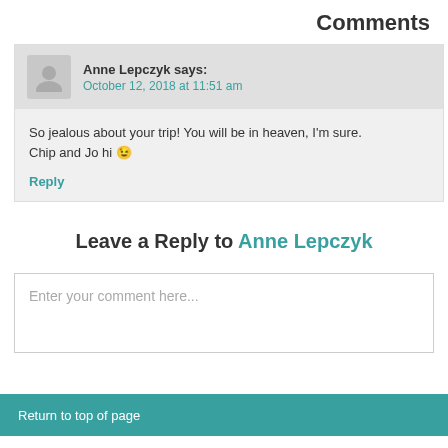Comments
Anne Lepczyk says:
October 12, 2018 at 11:51 am
So jealous about your trip! You will be in heaven, I'm sure. Tell Chip and Jo hi 😉
Reply
Leave a Reply to Anne Lepczyk
Enter your comment here...
Return to top of page